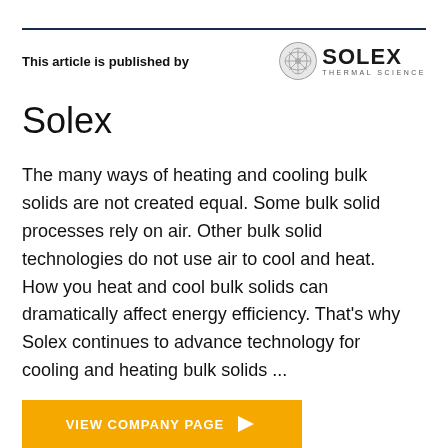This article is published by
[Figure (logo): Solex Thermal Science logo — circular grid icon with SOLEX in bold and THERMAL SCIENCE below]
Solex
The many ways of heating and cooling bulk solids are not created equal. Some bulk solid processes rely on air. Other bulk solid technologies do not use air to cool and heat. How you heat and cool bulk solids can dramatically affect energy efficiency. That's why Solex continues to advance technology for cooling and heating bulk solids ...
VIEW COMPANY PAGE